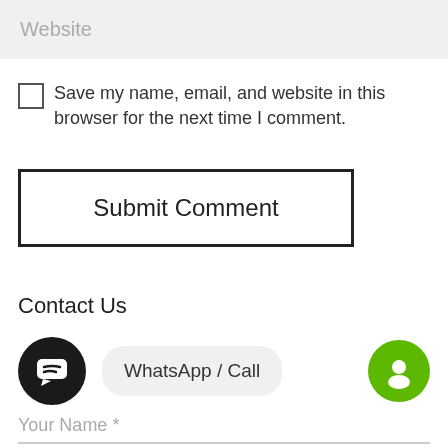Website
Save my name, email, and website in this browser for the next time I comment.
Submit Comment
Contact Us
WhatsApp / Call
Your Name *